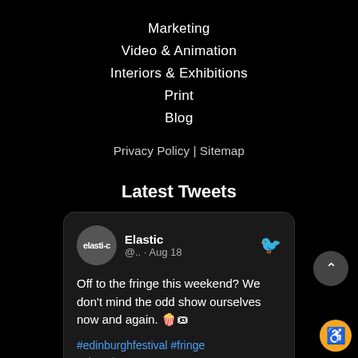Marketing
Video & Animation
Interiors & Exhibitions
Print
Blog
Privacy Policy | Sitemap
Latest Tweets
Elastic @.. · Aug 18
Off to the fringe this weekend? We don't mind the odd show ourselves now and again. 🍿🎟
#edinburghfestival #fringe #showtime